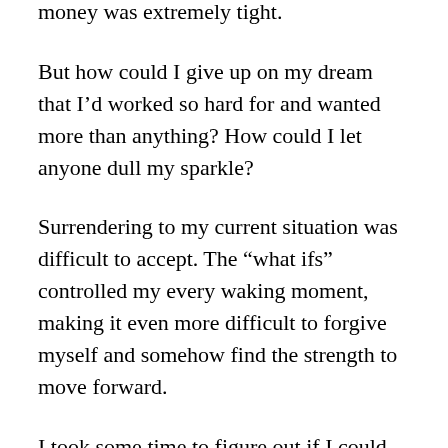money was extremely tight.
But how could I give up on my dream that I'd worked so hard for and wanted more than anything? How could I let anyone dull my sparkle?
Surrendering to my current situation was difficult to accept. The “what ifs” controlled my every waking moment, making it even more difficult to forgive myself and somehow find the strength to move forward.
I took some time to figure out if I could somehow save my dream even though it felt too crushed to repair.